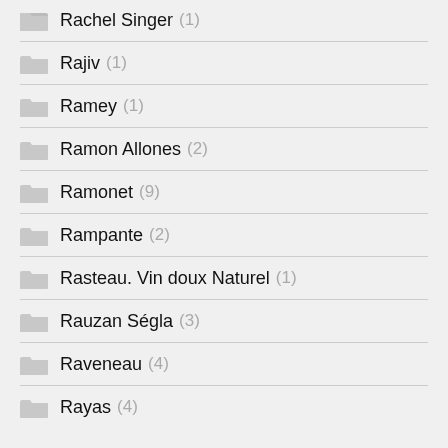Rachel Singer (1)
Rajiv (1)
Ramey (1)
Ramon Allones (2)
Ramonet (9)
Rampante (2)
Rasteau. Vin doux Naturel (1)
Rauzan Ségla (3)
Raveneau (4)
Rayas (4)